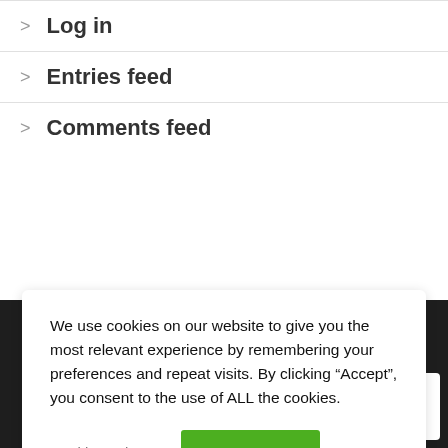Log in
Entries feed
Comments feed
We use cookies on our website to give you the most relevant experience by remembering your preferences and repeat visits. By clicking “Accept”, you consent to the use of ALL the cookies.
Cookie settings  ACCEPT
[Figure (logo): Tax Agility Chartered Accountants logo in white and teal on dark background]